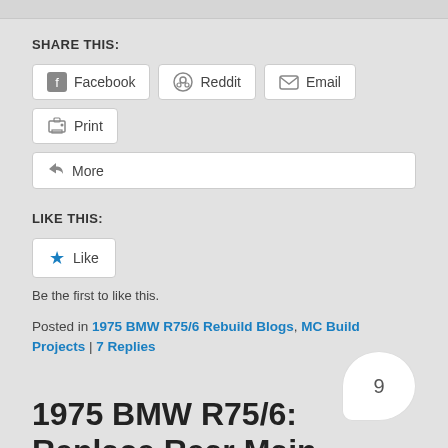SHARE THIS:
[Figure (other): Share buttons: Facebook, Reddit, Email, Print, More]
LIKE THIS:
[Figure (other): Like button with blue star icon]
Be the first to like this.
Posted in 1975 BMW R75/6 Rebuild Blogs, MC Build Projects | 7 Replies
1975 BMW R75/6: Replace Rear Main Seal, Oil Pump Cover, O-ring, Refurbish Clutch
[Figure (other): Comment bubble with number 9]